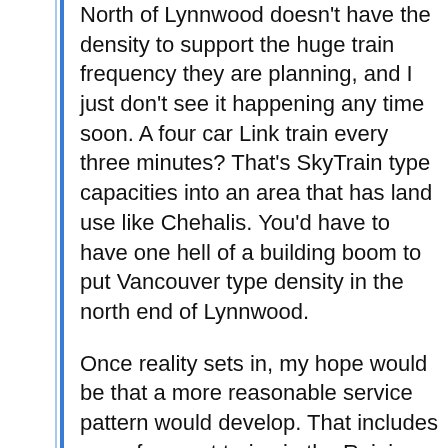North of Lynnwood doesn't have the density to support the huge train frequency they are planning, and I just don't see it happening any time soon. A four car Link train every three minutes? That's SkyTrain type capacities into an area that has land use like Chehalis. You'd have to have one hell of a building boom to put Vancouver type density in the north end of Lynnwood.
Once reality sets in, my hope would be that a more reasonable service pattern would develop. That includes more frequent trains in the Rainier Valley, as there are places that operate surface light rail lines more frequently that every 6 minutes.
Ultimately, I think there will have to be off